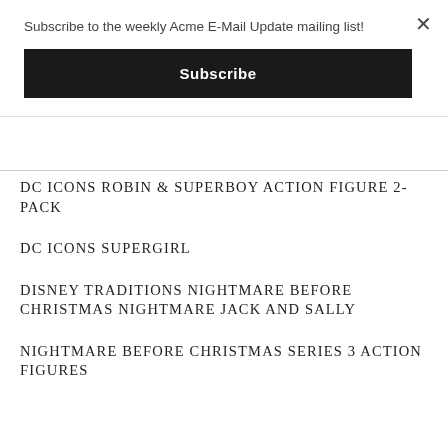Subscribe to the weekly Acme E-Mail Update mailing list!
Subscribe
DC ICONS ROBIN & SUPERBOY ACTION FIGURE 2-PACK
DC ICONS SUPERGIRL
DISNEY TRADITIONS NIGHTMARE BEFORE CHRISTMAS NIGHTMARE JACK AND SALLY
NIGHTMARE BEFORE CHRISTMAS SERIES 3 ACTION FIGURES